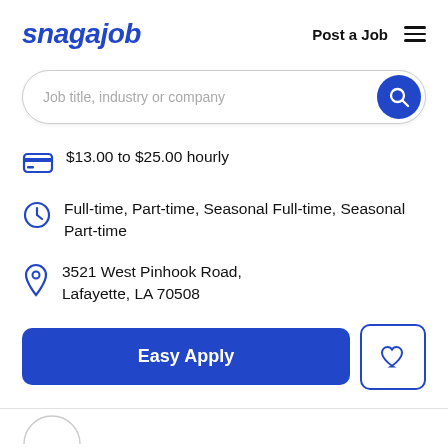snagajob   Post a Job
Job title, industry or company
$13.00 to $25.00 hourly
Full-time, Part-time, Seasonal Full-time, Seasonal Part-time
3521 West Pinhook Road, Lafayette, LA 70508
Easy Apply